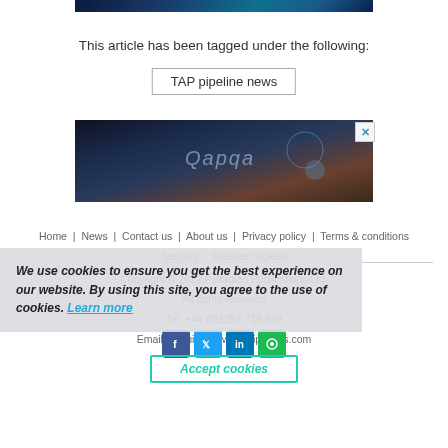[Figure (photo): Top decorative image with blue/teal network/tech pattern]
This article has been tagged under the following:
TAP pipeline news
[Figure (photo): Advertisement banner image showing dark industrial/mechanical scene with 'Qapqa' logo and X close button]
Home  News  Contact us  About us  Privacy policy  Terms & conditions  Security  Website cookies
Copyright © 2022 Palladian Publications Ltd.
All rights reserved
Tel: +44 (0)1252 718 999
Email: enquiries@worldpipelines.com
We use cookies to ensure you get the best experience on our website. By using this site, you agree to the use of cookies. Learn more
Accept cookies